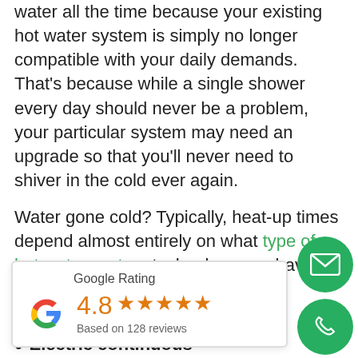water all the time because your existing hot water system is simply no longer compatible with your daily demands. That's because while a single shower every day should never be a problem, your particular system may need an upgrade so that you'll never need to shiver in the cold ever again.
Water gone cold? Typically, heat-up times depend almost entirely on what type of hot water system technology you have installed:
Electric tank system: Between 1 hour a...
[Figure (infographic): Google Rating widget showing 4.8 stars based on 128 reviews, with Google 'G' logo and orange star icons]
...een 30 minutes a...
Electric continuous flow/instantaneous: 0 minutes
[Figure (infographic): Green circular email/envelope button floating on right side]
[Figure (infographic): Green circular phone button floating on right side]